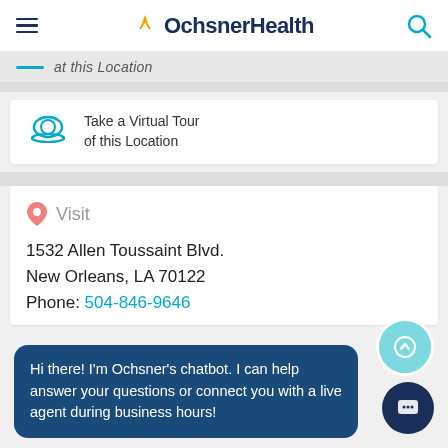Ochsner Health
at this Location
Take a Virtual Tour of this Location
Visit
1532 Allen Toussaint Blvd.
New Orleans, LA 70122
Phone: 504-846-9646
Hi there! I'm Ochsner's chatbot. I can help answer your questions or connect you with a live agent during business hours!